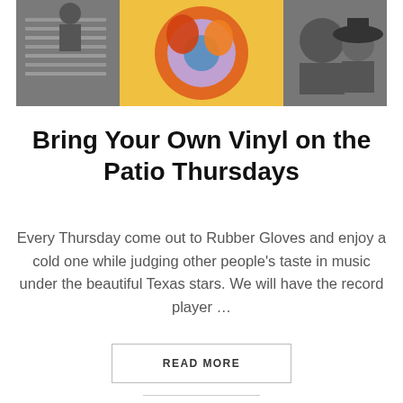[Figure (photo): Collage image showing people with vinyl records; black and white images on the sides with a colorful illustrated center showing musicians]
Bring Your Own Vinyl on the Patio Thursdays
Every Thursday come out to Rubber Gloves and enjoy a cold one while judging other people's taste in music under the beautiful Texas stars. We will have the record player …
READ MORE